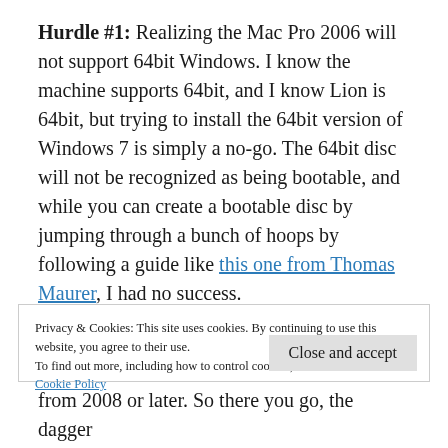Hurdle #1: Realizing the Mac Pro 2006 will not support 64bit Windows. I know the machine supports 64bit, and I know Lion is 64bit, but trying to install the 64bit version of Windows 7 is simply a no-go. The 64bit disc will not be recognized as being bootable, and while you can create a bootable disc by jumping through a bunch of hoops by following a guide like this one from Thomas Maurer, I had no success.
Privacy & Cookies: This site uses cookies. By continuing to use this website, you agree to their use.
To find out more, including how to control cookies, see here:
Cookie Policy
from 2008 or later. So there you go, the dagger